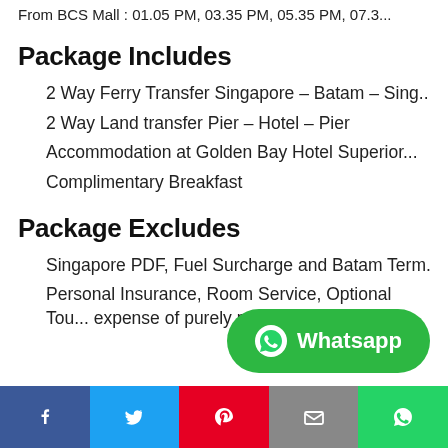From BCS Mall : 01.05 PM, 03.35 PM, 05.35 PM, 07.3...
Package Includes
2 Way Ferry Transfer Singapore – Batam – Sing...
2 Way Land transfer Pier – Hotel – Pier
Accommodation at Golden Bay Hotel Superior...
Complimentary Breakfast
Package Excludes
Singapore PDF, Fuel Surcharge and Batam Term...
Personal Insurance, Room Service, Optional Tou... expense of purely personal nature.
[Figure (infographic): WhatsApp contact button (green rounded pill) with WhatsApp icon and label 'Whatsapp']
[Figure (infographic): Social sharing bar at bottom: Facebook (blue), Twitter (light blue), Pinterest (red), Email (gray), WhatsApp (green)]